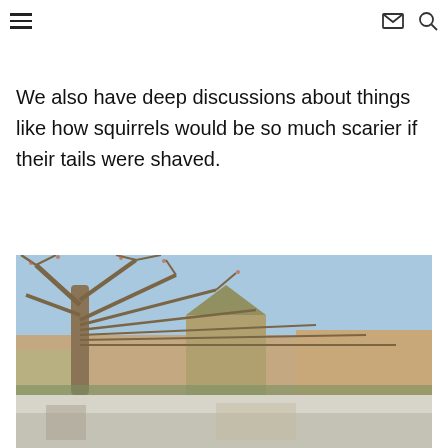[hamburger menu icon] [email icon] [search icon]
We also have deep discussions about things like how squirrels would be so much scarier if their tails were shaved.
[Figure (photo): Outdoor scene showing a large bare-branched tree in the foreground against a blue sky, with buildings including a church or university structure visible in the background. A second partially visible image appears below showing a street scene.]